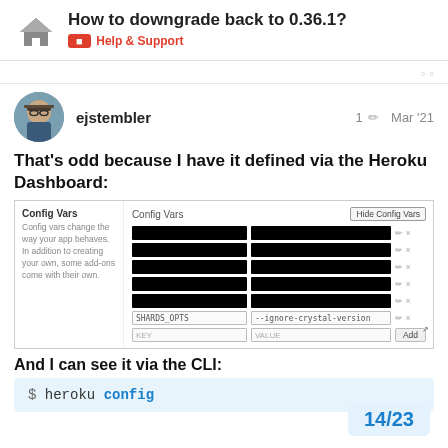How to downgrade back to 0.36.1? | Help & Support
ejstembler   1  Mar '21
That's odd because I have it defined via the Heroku Dashboard:
[Figure (screenshot): Screenshot of Heroku Dashboard Config Vars panel showing SHARDS_OPTS set to --ignore-crystal-version and several redacted key-value pairs.]
And I can see it via the CLI:
$ heroku config
14 / 23